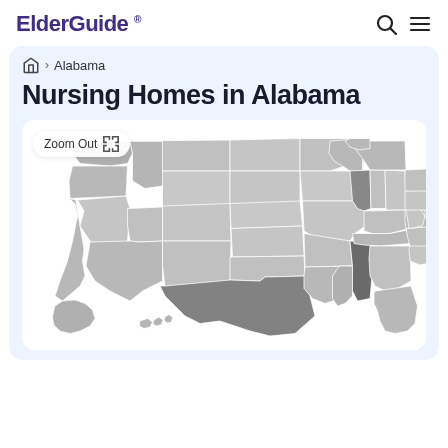ElderGuide ®
🏠 › Alabama
Nursing Homes in Alabama
[Figure (map): Choropleth map of the United States showing state boundaries in varying shades of gray. Alabama and Texas appear in darker gray as highlighted states. Map includes a 'Zoom Out' button with a collapse icon in the top left corner of the map panel.]